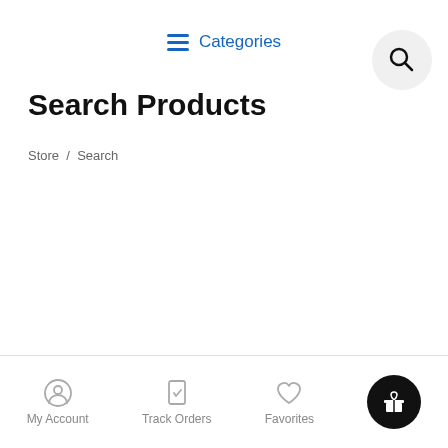Categories
Search Products
Store / Search
[Figure (screenshot): Search input box with magnifying glass icon and placeholder text 'Search for products', outlined in blue]
My Account   Track Orders   Favorites